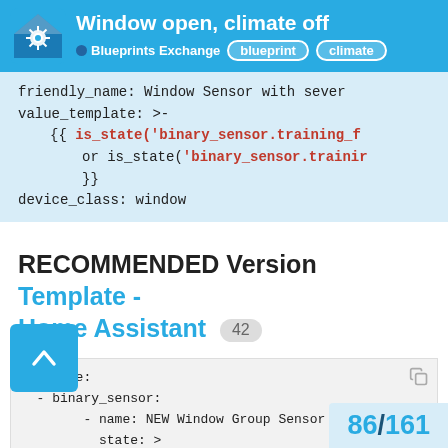Window open, climate off — Blueprints Exchange blueprint climate
friendly_name: Window Sensor with sever
value_template: >-
    {{ is_state('binary_sensor.training_f
        or is_state('binary_sensor.trainir
        }}
device_class: window
RECOMMENDED Version Template - Home Assistant 42
template:
  - binary_sensor:
        - name: NEW Window Group Sensor
          state: >
              {{ is_state('binary_sensor.training_f
                  or is_state('binar
              }}
          device_class: window
86 / 161